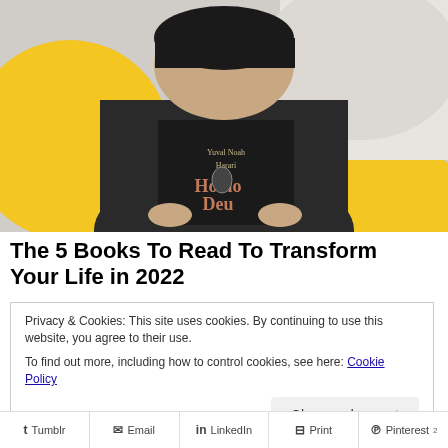[Figure (photo): Person holding a dark book titled 'Homo Deus' by Yuval Noah Harari in front of their face, with yellow circular graphic design elements in the background]
The 5 Books To Read To Transform Your Life in 2022
Privacy & Cookies: This site uses cookies. By continuing to use this website, you agree to their use.
To find out more, including how to control cookies, see here: Cookie Policy
Close and accept
Tumblr   Email   LinkedIn   Print   Pinterest